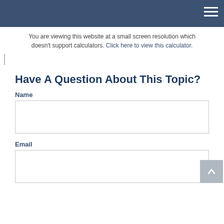You are viewing this website at a small screen resolution which doesn't support calculators. Click here to view this calculator.
Have A Question About This Topic?
Name
Email